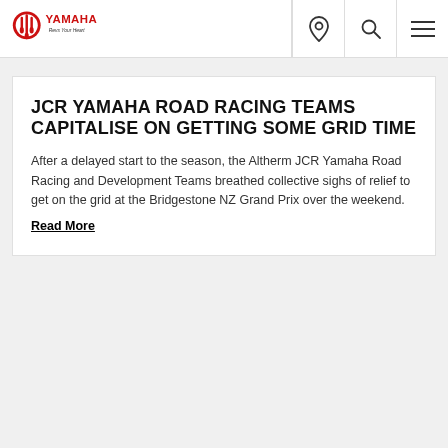Yamaha navigation bar with logo, location pin, search, and menu icons
JCR YAMAHA ROAD RACING TEAMS CAPITALISE ON GETTING SOME GRID TIME
After a delayed start to the season, the Altherm JCR Yamaha Road Racing and Development Teams breathed collective sighs of relief to get on the grid at the Bridgestone NZ Grand Prix over the weekend.
Read More